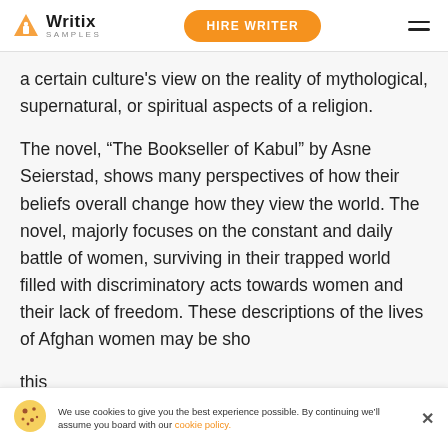Writix SAMPLES | HIRE WRITER
a certain culture's view on the reality of mythological, supernatural, or spiritual aspects of a religion.
The novel, “The Bookseller of Kabul” by Asne Seierstad, shows many perspectives of how their beliefs overall change how they view the world. The novel, majorly focuses on the constant and daily battle of women, surviving in their trapped world filled with discriminatory acts towards women and their lack of freedom. These descriptions of the lives of Afghan women may be sho this
We use cookies to give you the best experience possible. By continuing we’ll assume you board with our cookie policy.